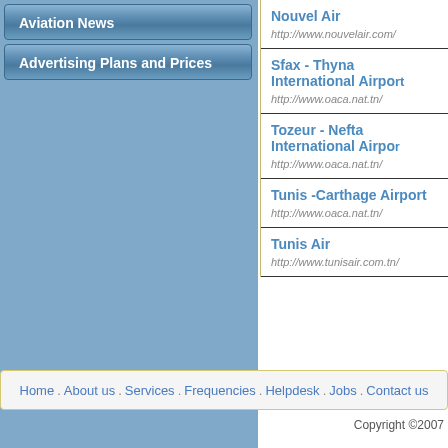Aviation News
Advertising Plans and Prices
Nouvel Air
http://www.nouvelair.com/
Sfax - Thyna International Airport
http://www.oaca.nat.tn/
Tozeur - Nefta International Airport
http://www.oaca.nat.tn/
Tunis -Carthage Airport
http://www.oaca.nat.tn/
Tunis Air
http://www.tunisair.com.tn/
Home . About us . Services . Frequencies . Helpdesk . Jobs . Contact us
Copyright ©2007